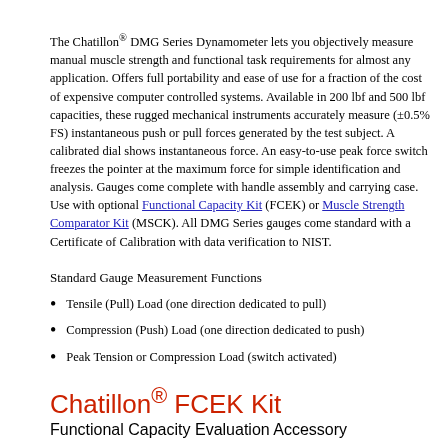The Chatillon® DMG Series Dynamometer lets you objectively measure manual muscle strength and functional task requirements for almost any application. Offers full portability and ease of use for a fraction of the cost of expensive computer controlled systems. Available in 200 lbf and 500 lbf capacities, these rugged mechanical instruments accurately measure (±0.5% FS) instantaneous push or pull forces generated by the test subject. A calibrated dial shows instantaneous force. An easy-to-use peak force switch freezes the pointer at the maximum force for simple identification and analysis. Gauges come complete with handle assembly and carrying case. Use with optional Functional Capacity Kit (FCEK) or Muscle Strength Comparator Kit (MSCK). All DMG Series gauges come standard with a Certificate of Calibration with data verification to NIST.
Standard Gauge Measurement Functions
Tensile (Pull) Load (one direction dedicated to pull)
Compression (Push) Load (one direction dedicated to push)
Peak Tension or Compression Load (switch activated)
Chatillon® FCEK Kit
Functional Capacity Evaluation Accessory